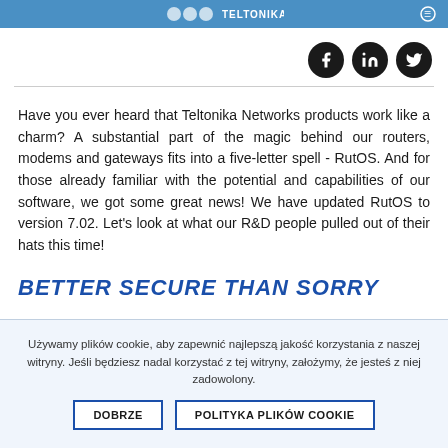Teltonika Networks header bar
[Figure (logo): Social media icons: Facebook, LinkedIn, Twitter in black circles]
Have you ever heard that Teltonika Networks products work like a charm? A substantial part of the magic behind our routers, modems and gateways fits into a five-letter spell - RutOS. And for those already familiar with the potential and capabilities of our software, we got some great news! We have updated RutOS to version 7.02. Let's look at what our R&D people pulled out of their hats this time!
BETTER SECURE THAN SORRY
Używamy plików cookie, aby zapewnić najlepszą jakość korzystania z naszej witryny. Jeśli będziesz nadal korzystać z tej witryny, założymy, że jesteś z niej zadowolony.
DOBRZE   POLITYKA PLIKÓW COOKIE